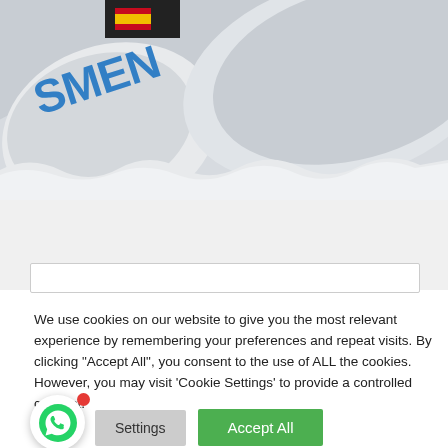[Figure (photo): Rolled and folded newspapers with 'NEWS' text visible in blue, shot from above at an angle, on a white/gray background.]
We use cookies on our website to give you the most relevant experience by remembering your preferences and repeat visits. By clicking "Accept All", you consent to the use of ALL the cookies. However, you may visit 'Cookie Settings' to provide a controlled consent.
Settings
Accept All